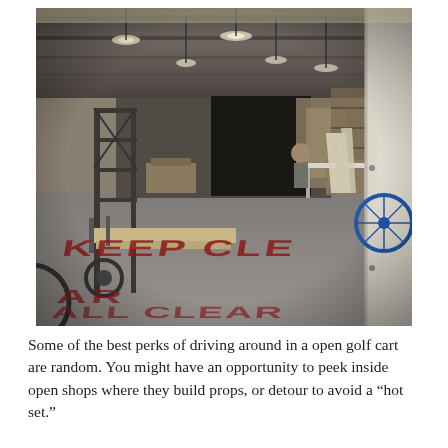[Figure (photo): Interior of a large warehouse or prop shop. The floor has red stenciled text reading 'KEEP CLEAR'. Various props, carts, equipment, metal frames, and wooden items are visible. A bicycle wheel is visible on the right side. People are working in the background. Industrial ceiling with lights.]
Some of the best perks of driving around in a open golf cart are random. You might have an opportunity to peek inside open shops where they build props, or detour to avoid a "hot set."